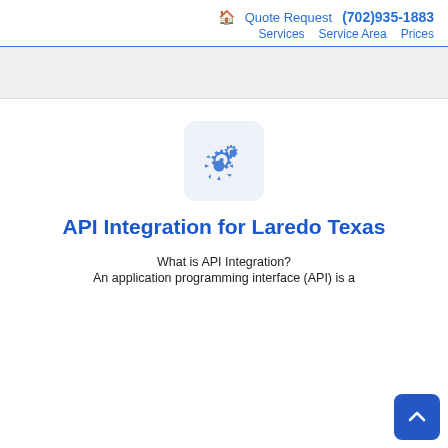🏠 Quote Request (702)935-1883 Services Service Area Prices
[Figure (illustration): Gray rounded square icon containing two blue gear/cog icons representing settings or integration]
API Integration for Laredo Texas
What is API Integration?
An application programming interface (API) is a